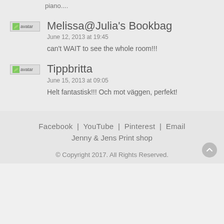piano....
Melissa@Julia's Bookbag
June 12, 2013 at 19:45
can't WAIT to see the whole room!!!
Tippbritta
June 15, 2013 at 09:05
Helt fantastisk!!! Och mot väggen, perfekt!
Facebook  YouTube  Pinterest  Email
Jenny & Jens Print shop
© Copyright 2017. All Rights Reserved.